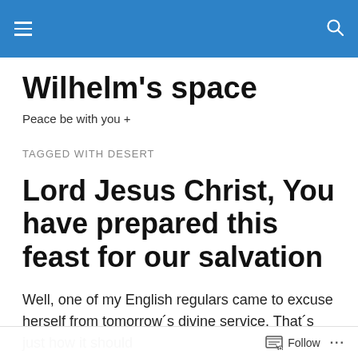Wilhelm's space — navigation header bar
Wilhelm's space
Peace be with you +
TAGGED WITH DESERT
Lord Jesus Christ, You have prepared this feast for our salvation
Well, one of my English regulars came to excuse herself from tomorrow´s divine service. That´s just how it should
Follow ...